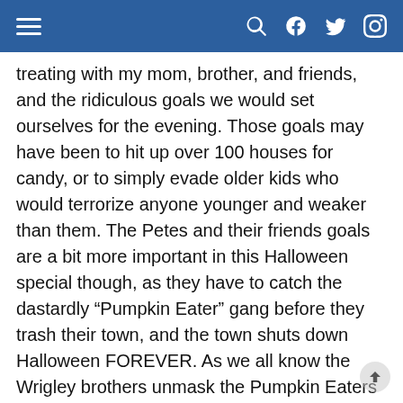Navigation bar with hamburger menu, search, Facebook, Twitter, and Instagram icons
treating with my mom, brother, and friends, and the ridiculous goals we would set ourselves for the evening. Those goals may have been to hit up over 100 houses for candy, or to simply evade older kids who would terrorize anyone younger and weaker than them. The Petes and their friends goals are a bit more important in this Halloween special though, as they have to catch the dastardly “Pumpkin Eater” gang before they trash their town, and the town shuts down Halloween FOREVER. As we all know the Wrigley brothers unmask the Pumpkin Eaters in the end, and all is well, but now that I’m older the best thing in this special is Iggy Pop calling the head Pumpkin Eater a stooge.